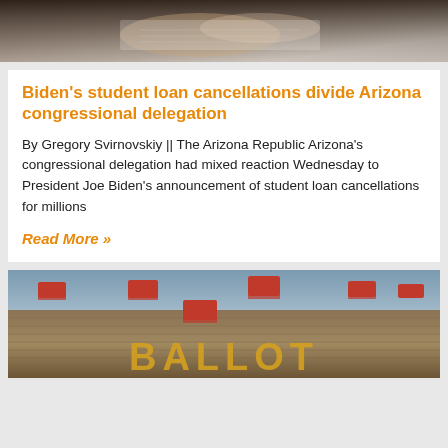[Figure (photo): Top portion of a photo showing hands on a document or paper, partially visible]
Biden's student loan cancellations divide Arizona congressional delegation
By Gregory Svirnovskiy || The Arizona Republic Arizona's congressional delegation had mixed reaction Wednesday to President Joe Biden's announcement of student loan cancellations for millions
Read More »
[Figure (photo): Aerial photo of red combine harvesters arranged on a field with the word BALLOT visible at the bottom]